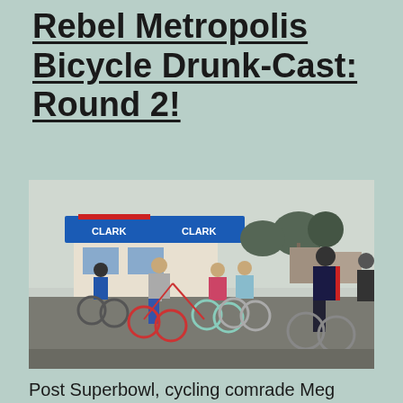Rebel Metropolis Bicycle Drunk-Cast: Round 2!
[Figure (photo): Group of cyclists riding bicycles in a parking lot near a Clark gas station. Several people on bikes of various styles, trees visible in background, overcast sky.]
Post Superbowl, cycling comrade Meg Brennon got down with me once again to